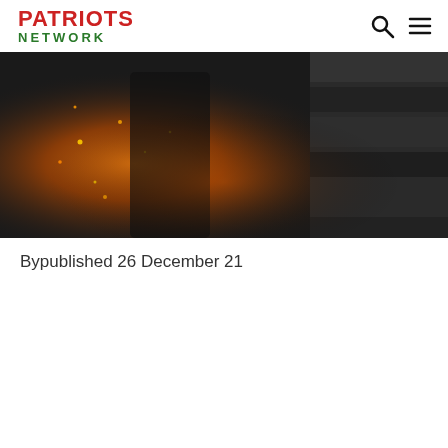PATRIOTS NETWORK
[Figure (photo): Dark action scene image with fire and sparks, showing a person in dark clothing with glowing/burning elements in the background]
Bypublished 26 December 21